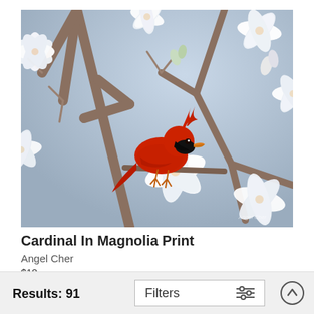[Figure (photo): A bright red male Northern Cardinal perched on a branch surrounded by white magnolia blossoms, against a soft blue-grey sky background. The cardinal faces right with a red crest raised. White star magnolia flowers fill the foreground and background.]
Cardinal In Magnolia Print
Angel Cher
$18
Results: 91
Filters